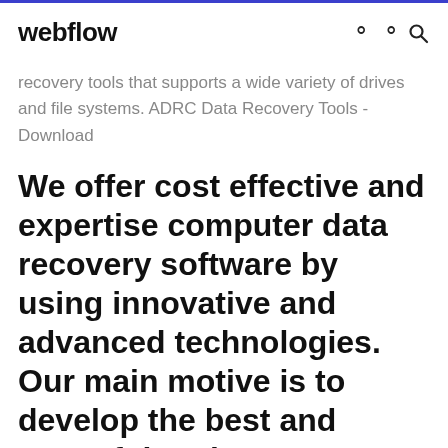webflow
recovery tools that supports a wide variety of drives and file systems. ADRC Data Recovery Tools - Download
We offer cost effective and expertise computer data recovery software by using innovative and advanced technologies. Our main motive is to develop the best and powerful tools to recover lost data. Our main motive is to develop the best and powerful tools to recover lost data.